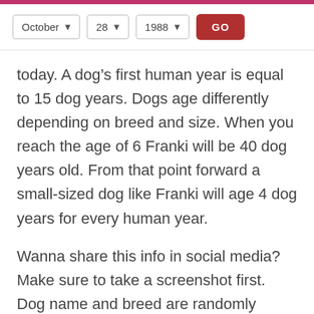[Figure (screenshot): Web UI controls row with dropdowns for October, 28, 1988 and a red GO button]
today. A dog's first human year is equal to 15 dog years. Dogs age differently depending on breed and size. When you reach the age of 6 Franki will be 40 dog years old. From that point forward a small-sized dog like Franki will age 4 dog years for every human year.
Wanna share this info in social media? Make sure to take a screenshot first. Dog name and breed are randomly generated. Try reloading this page to see a new pet name and a different breed.